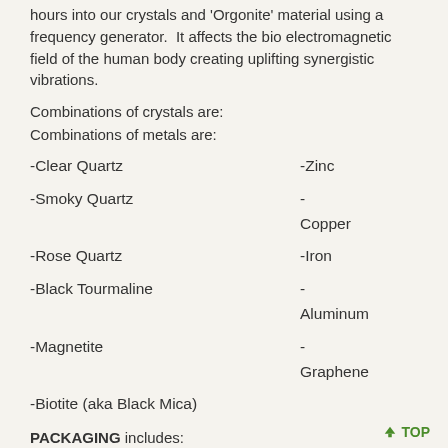hours into our crystals and 'Orgonite' material using a frequency generator. It affects the bio electromagnetic field of the human body creating uplifting synergistic vibrations.
Combinations of crystals are:
Combinations of metals are:
-Clear Quartz    -Zinc
-Smoky Quartz    - Copper
-Rose Quartz    -Iron
-Black Tourmaline    - Aluminum
-Magnetite    - Graphene
-Biotite (aka Black Mica)
PACKAGING includes:
(1) hand-carved 4X6 wooden box
(1) small selenite stick
(1) 5X8 velvet bag
(1) Paku Qi Flyer